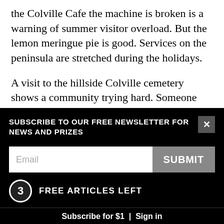the Colville Cafe the machine is broken is a warning of summer visitor overload. But the lemon meringue pie is good. Services on the peninsula are stretched during the holidays.
A visit to the hillside Colville cemetery shows a community trying hard. Someone has been in clearing the gorse and blackberry and giving the place a bit of a mow. Native trees have been newly planted around the perimeter. The epitaphs on the stones are the same sad litany you find in many rural last resting places. Children taken by disease. Men
SUBSCRIBE TO OUR FREE NEWSLETTER FOR NEWS AND PRIZES
Email
SUBMIT
3 FREE ARTICLES LEFT
Subscribe for $1 | Sign in